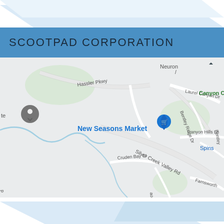SCOOTPAD CORPORATION
[Figure (map): Google Maps view showing the area around 5655 Silver Creek Valley Rd, San Jose, CA 95138. Visible landmarks include New Seasons Market, Hassler Pkwy, Bentley Ridge Dr, Laurel Canyon Dr, Canyon Hills Ln, Silver Creek Valley Rd, Cruden Bay Ct, Farnsworth, and Canyon C label. A blue location pin marks New Seasons Market.]
5655 Silver Creek Valley Rd, Suite 933, San Jose, CA 95138